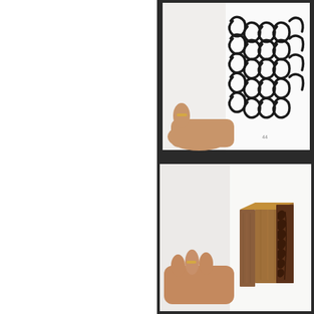[Figure (photo): A hand holding open a book showing a page with a repeating black wave/scroll pattern design arranged in rows on white paper. The pattern consists of interlocking curved S-like shapes forming a dense repeating motif.]
[Figure (photo): A hand holding open a book showing a page with a wooden printing block or stamp. The block is a rectangular wooden box with a carved relief pattern of leaves and foliage on its face. The background is white.]